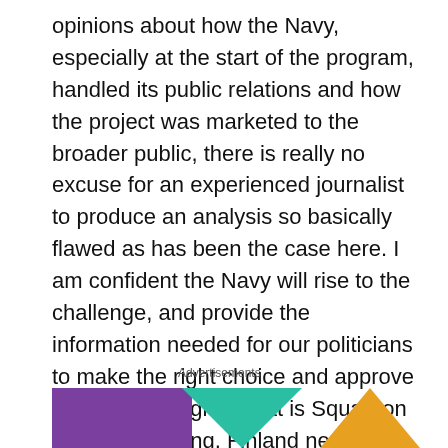opinions about how the Navy, especially at the start of the program, handled its public relations and how the project was marketed to the broader public, there is really no excuse for an experienced journalist to produce an analysis so basically flawed as has been the case here. I am confident the Navy will rise to the challenge, and provide the information needed for our politicians to make the right choice and approve the crucial program that is Squadron 2020. If anything, Finland need more, not less, corvettes than planned.
Advertisements
[Figure (illustration): Advertisement banner with purple, teal, and orange colored shapes partially visible at bottom of page]